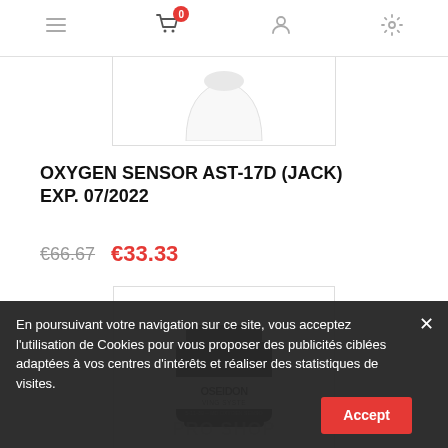Navigation bar with menu, cart (0), user, settings icons
[Figure (photo): Partial product image — white dome-shaped oxygen sensor, top portion visible, cut off by scroll]
OXYGEN SENSOR AST-17D (JACK) EXP. 07/2022
€66.67  €33.33
[Figure (photo): Poseidon Diving Systems oxygen sensor (MD Oxygen Sensor, part 5-11-39), cylindrical black unit with white label showing 'POSEIDON DIVING SYSTEMS', product text partially obscured by PRO SHOP watermark]
En poursuivant votre navigation sur ce site, vous acceptez l'utilisation de Cookies pour vous proposer des publicités ciblées adaptées à vos centres d'intérêts et réaliser des statistiques de visites.